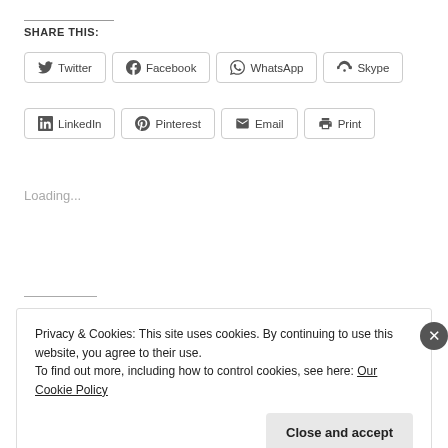SHARE THIS:
Twitter
Facebook
WhatsApp
Skype
LinkedIn
Pinterest
Email
Print
Loading...
Privacy & Cookies: This site uses cookies. By continuing to use this website, you agree to their use.
To find out more, including how to control cookies, see here: Our Cookie Policy